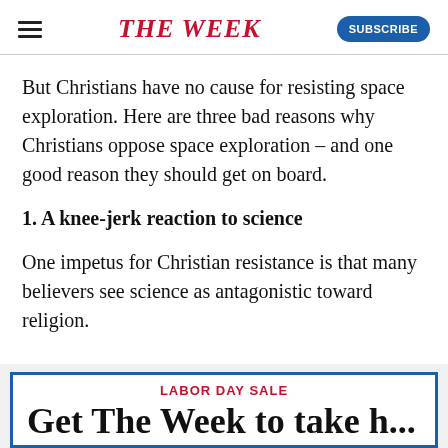THE WEEK
But Christians have no cause for resisting space exploration. Here are three bad reasons why Christians oppose space exploration – and one good reason they should get on board.
1. A knee-jerk reaction to science
One impetus for Christian resistance is that many believers see science as antagonistic toward religion.
[Figure (other): Advertisement banner: LABOR DAY SALE - Get The Week to take home...]